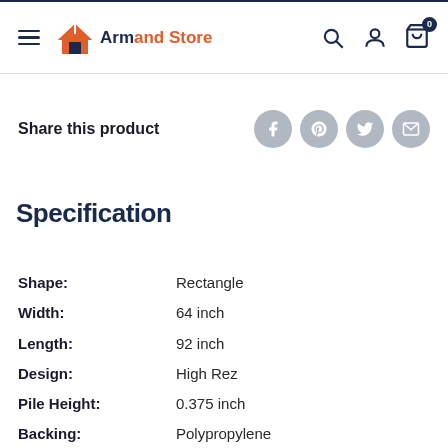Armand Store — navigation header with hamburger menu, logo, search, account, and cart icons
Share this product
Specification
| Property | Value |
| --- | --- |
| Shape: | Rectangle |
| Width: | 64 inch |
| Length: | 92 inch |
| Design: | High Rez |
| Pile Height: | 0.375 inch |
| Backing: | Polypropylene |
| Style: | Rustic |
| Construction: | Machine |
| Origin: | USA |